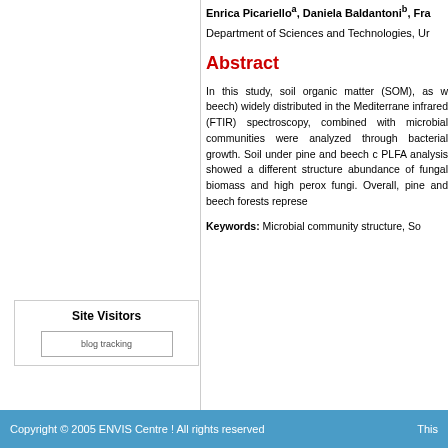Enrica Picarielloa, Daniela Baldantonib, Fra...
Department of Sciences and Technologies, Ur...
Abstract
In this study, soil organic matter (SOM), as w... beech) widely distributed in the Mediterrane... infrared (FTIR) spectroscopy, combined with ... microbial communities were analyzed through... bacterial growth. Soil under pine and beech c... PLFA analysis showed a different structure ... abundance of fungal biomass and high perox... fungi. Overall, pine and beech forests represe...
Keywords: Microbial community structure, So...
Site Visitors
[Figure (other): blog tracking image placeholder]
Copyright © 2005 ENVIS Centre ! All rights reserved   This